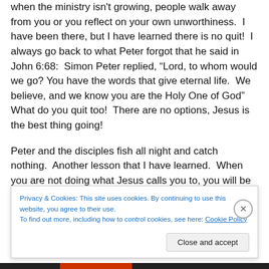when the ministry isn't growing, people walk away from you or you reflect on your own unworthiness. I have been there, but I have learned there is no quit! I always go back to what Peter forgot that he said in John 6:68: Simon Peter replied, “Lord, to whom would we go? You have the words that give eternal life. We believe, and we know you are the Holy One of God” What do you quit too! There are no options, Jesus is the best thing going!
Peter and the disciples fish all night and catch nothing. Another lesson that I have learned. When you are not doing what Jesus calls you to, you will be unfruitful. You
Privacy & Cookies: This site uses cookies. By continuing to use this website, you agree to their use.
To find out more, including how to control cookies, see here: Cookie Policy